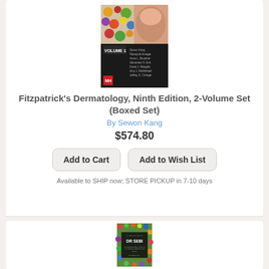[Figure (photo): Book cover of Fitzpatrick's Dermatology, Ninth Edition, 2-Volume Set (Boxed Set) by Sewon Kang]
Fitzpatrick's Dermatology, Ninth Edition, 2-Volume Set (Boxed Set)
By Sewon Kang
$574.80
Add to Cart
Add to Wish List
Available to SHIP now; STORE PICKUP in 7-10 days
[Figure (photo): Book cover of DR SEBI: A Complete Dr Sebi's Approach Alkaline Diet Food For Living Healthy by Dr. Benjo Levy]